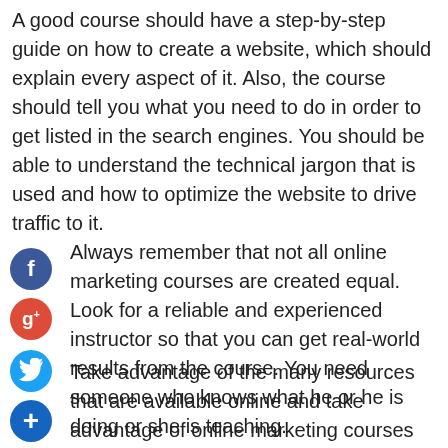A good course should have a step-by-step guide on how to create a website, which should explain every aspect of it. Also, the course should tell you what you need to do in order to get listed in the search engines. You should be able to understand the technical jargon that is used and how to optimize the website to drive traffic to it.
Always remember that not all online marketing courses are created equal. Look for a reliable and experienced instructor so that you can get real-world results from the course. You need someone who knows what he or he is doing or she is teaching.
Take advantage of the many resources that are available online and take advantage of online marketing courses that will help you reach your goals. If you are willing to put in the work and time, you will see great results from your online marketing efforts.